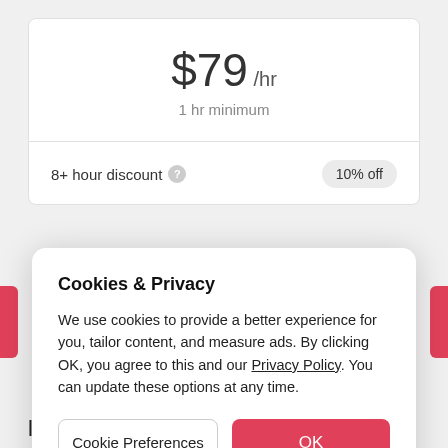$79 /hr
1 hr minimum
8+ hour discount
10% off
Cookies & Privacy
We use cookies to provide a better experience for you, tailor content, and measure ads. By clicking OK, you agree to this and our Privacy Policy. You can update these options at any time.
Cookie Preferences
OK